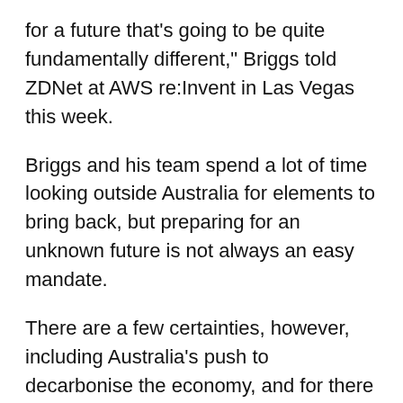for a future that's going to be quite fundamentally different," Briggs told ZDNet at AWS re:Invent in Las Vegas this week.
Briggs and his team spend a lot of time looking outside Australia for elements to bring back, but preparing for an unknown future is not always an easy mandate.
There are a few certainties, however, including Australia's push to decarbonise the economy, and for there to be changes in the types of energy technologies -- most notably solar.
"One of the only energy technologies that doesn't suffer from diseconomies of scale -- which means